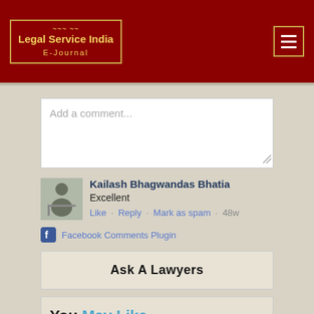Legal Service India E-Journal
Add a comment...
Kailash Bhagwandas Bhatia
Excellent
Like · Reply · Mark as spam · 48w
Facebook Comments Plugin
Ask A Lawyers
You May Like